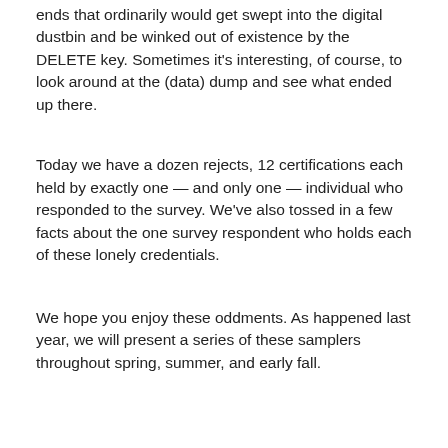ends that ordinarily would get swept into the digital dustbin and be winked out of existence by the DELETE key. Sometimes it's interesting, of course, to look around at the (data) dump and see what ended up there.
Today we have a dozen rejects, 12 certifications each held by exactly one — and only one — individual who responded to the survey. We've also tossed in a few facts about the one survey respondent who holds each of these lonely credentials.
We hope you enjoy these oddments. As happened last year, we will present a series of these samplers throughout spring, summer, and early fall.